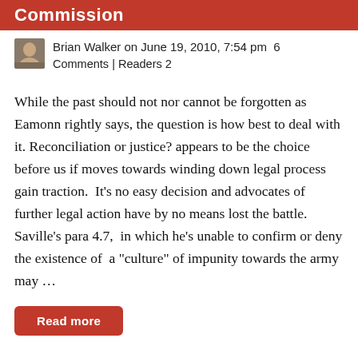Commission
Brian Walker on June 19, 2010, 7:54 pm  6 Comments | Readers 2
While the past should not nor cannot be forgotten as Eamonn rightly says, the question is how best to deal with it. Reconciliation or justice? appears to be the choice before us if moves towards winding down legal process gain traction.  It’s no easy decision and advocates of further legal action have by no means lost the battle. Saville’s para 4.7,  in which he’s unable to confirm or deny the existence of  a “culture” of impunity towards the army may …
Read more